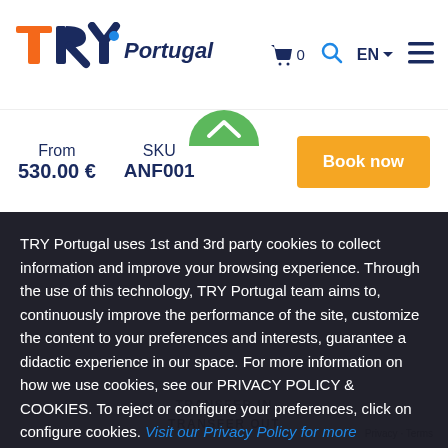[Figure (logo): TRY Portugal logo with orange and blue lettering]
From 530.00 € SKU ANF001
Book now
TRY Portugal uses 1st and 3rd party cookies to collect information and improve your browsing experience. Through the use of this technology, TRY Portugal team aims to, continuously improve the performance of the site, customize the content to your preferences and interests, guarantee a didactic experience in our space. For more information on how we use cookies, see our PRIVACY POLICY & COOKIES. To reject or configure your preferences, click on configure cookies. Visit our Privacy Policy for more information.
I ACCEPT
TRANSFER IN
TRANSFER OUT